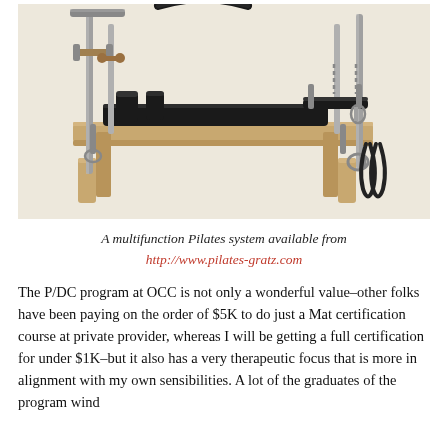[Figure (photo): A multifunction Pilates reformer/cadillac system with a wooden frame, black leather padding, metal vertical poles, and hanging straps and handles, photographed against a light beige background.]
A multifunction Pilates system available from http://www.pilates-gratz.com
The P/DC program at OCC is not only a wonderful value–other folks have been paying on the order of $5K to do just a Mat certification course at private provider, whereas I will be getting a full certification for under $1K–but it also has a very therapeutic focus that is more in alignment with my own sensibilities. A lot of the graduates of the program wind